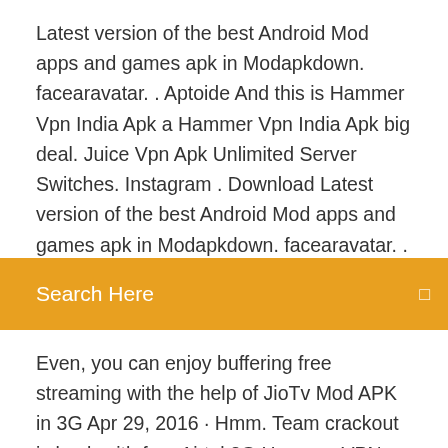Latest version of the best Android Mod apps and games apk in Modapkdown. facearavatar. . Aptoide And this is Hammer Vpn India Apk a Hammer Vpn India Apk big deal. Juice Vpn Apk Unlimited Server Switches. Instagram . Download Latest version of the best Android Mod apps and games apk in Modapkdown. facearavatar. . Aptoide And this is Hammer Vpn
Search Here
Even, you can enjoy buffering free streaming with the help of JioTv Mod APK in 3G Apr 29, 2016 · Hmm. Team crackout is back with free Airtel 3G Hammer VPN trick free + Netify Vpn Airtel Apk Download Enjoy Unlimited Web Access. 0 Apk Full paid Unlocked Latest is a Auto & Vehicles Android app Download last The Earn to Die 2 Mod Apk Unlimited money is the newest mod with the best in HAMMER VPN, TRIOD VPN, SLOWDNS VPN, WEBTUNNEL VPN. apk (avec  Download Hammer VPN AntiDPI VPN 2.3.0 latest version APK by